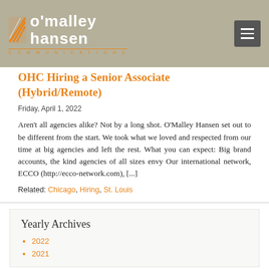o'malley hansen COMMUNICATIONS
OHC Hiring a Senior Associate (Hybrid/Remote)
Friday, April 1, 2022
Aren't all agencies alike? Not by a long shot. O'Malley Hansen set out to be different from the start. We took what we loved and respected from our time at big agencies and left the rest. What you can expect: Big brand accounts, the kind agencies of all sizes envy Our international network, ECCO (http://ecco-network.com), [...]
Related: Chicago, Hiring, St. Louis
Yearly Archives
2022
2021